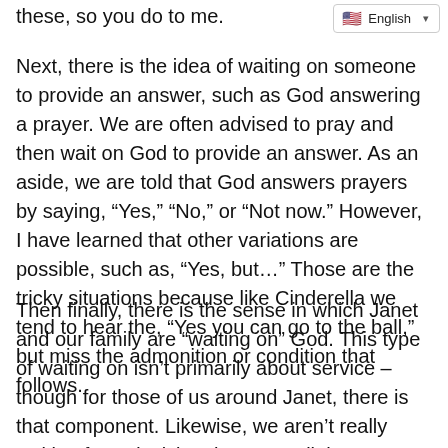these, so you do to me.
English
Next, there is the idea of waiting on someone to provide an answer, such as God answering a prayer. We are often advised to pray and then wait on God to provide an answer. As an aside, we are told that God answers prayers by saying, “Yes,” “No,” or “Not now.” However, I have learned that other variations are possible, such as, “Yes, but…” Those are the tricky situations because like Cinderella we tend to hear the, “Yes you can go to the ball,” but miss the admonition or condition that follows.
Then finally, there is the sense in which Janet and our family are “waiting on” God. This type of waiting on isn’t primarily about service – though for those of us around Janet, there is that component. Likewise, we aren’t really waiting for a decision, because all the decisions to be made have been made. Rather, it